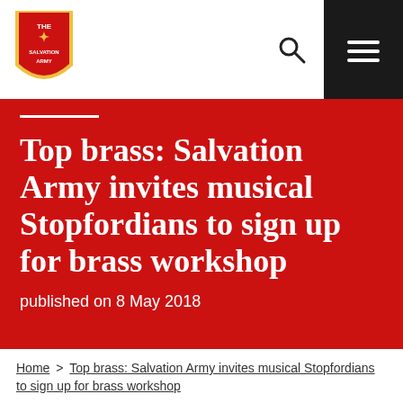[Figure (logo): The Salvation Army shield logo in red and gold with text 'THE SALVATION ARMY']
Top brass: Salvation Army invites musical Stopfordians to sign up for brass workshop
published on 8 May 2018
Home > Top brass: Salvation Army invites musical Stopfordians to sign up for brass workshop